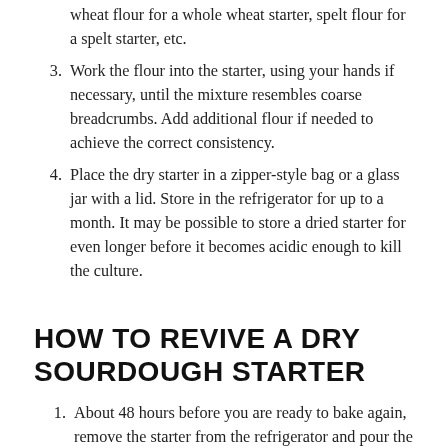wheat flour for a whole wheat starter, spelt flour for a spelt starter, etc.
Work the flour into the starter, using your hands if necessary, until the mixture resembles coarse breadcrumbs. Add additional flour if needed to achieve the correct consistency.
Place the dry starter in a zipper-style bag or a glass jar with a lid. Store in the refrigerator for up to a month. It may be possible to store a dried starter for even longer before it becomes acidic enough to kill the culture.
HOW TO REVIVE A DRY SOURDOUGH STARTER
About 48 hours before you are ready to bake again, remove the starter from the refrigerator and pour the dry starter into a medium bowl.